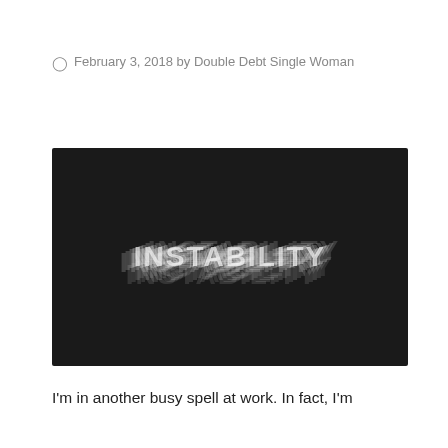February 3, 2018 by Double Debt Single Woman
[Figure (illustration): Black background image with the word INSTABILITY rendered in a blurred/glitched white bold text effect, appearing to show multiple overlapping offsets of the same text creating a motion blur or instability visual effect.]
I'm in another busy spell at work. In fact, I'm